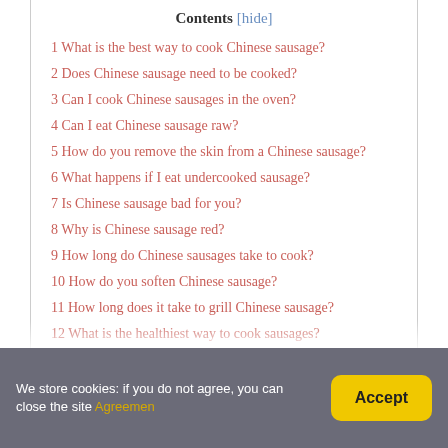Contents [hide]
1 What is the best way to cook Chinese sausage?
2 Does Chinese sausage need to be cooked?
3 Can I cook Chinese sausages in the oven?
4 Can I eat Chinese sausage raw?
5 How do you remove the skin from a Chinese sausage?
6 What happens if I eat undercooked sausage?
7 Is Chinese sausage bad for you?
8 Why is Chinese sausage red?
9 How long do Chinese sausages take to cook?
10 How do you soften Chinese sausage?
11 How long does it take to grill Chinese sausage?
12 What is the healthiest way to cook sausages?
13 What temperature should I cook sausage?
We store cookies: if you do not agree, you can close the site Agreemen